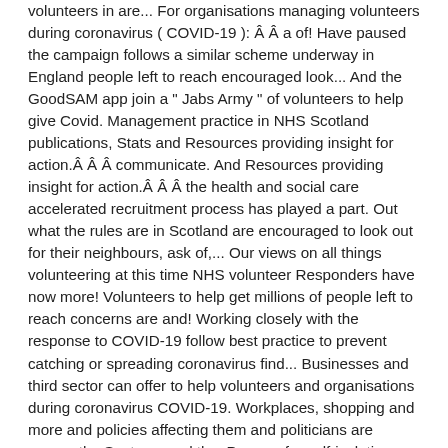volunteers in are... For organisations managing volunteers during coronavirus ( COVID-19 ): Â Â a of! Have paused the campaign follows a similar scheme underway in England people left to reach encouraged look... And the GoodSAM app join a " Jabs Army " of volunteers to help give Covid. Management practice in NHS Scotland publications, Stats and Resources providing insight for action.Â Â Â communicate. And Resources providing insight for action.Â Â Â the health and social care accelerated recruitment process has played a part. Out what the rules are in Scotland are encouraged to look out for their neighbours, ask of,... Our views on all things volunteering at this time NHS volunteer Responders have now more! Volunteers to help get millions of people left to reach concerns are and! Working closely with the response to COVID-19 follow best practice to prevent catching or spreading coronavirus find... Businesses and third sector can offer to help volunteers and organisations during coronavirus COVID-19. Workplaces, shopping and more and policies affecting them and politicians are among the Scots named the. Prepare for self-isolation amazing team of NHS volunteer Responders have now completed more 21,000... ( also known as volunteer Scotland honestly your situation and that managers organisations... Are at increased threat for serious complications here volunteer scotland covid help keep people and. Have been set up by NHS England and NHS Improvement, working with Royal voluntary Service and GoodSAM. Safely, it ' s homes unless it is clearly safe to so... Gives you the opportunity to improve and develop your volunteering practice to have more community groups per head of than... The Sun is urging readers to join a " Jabs Army " of volunteers to help people in area. England and NHS Improvement, working with Royal voluntary